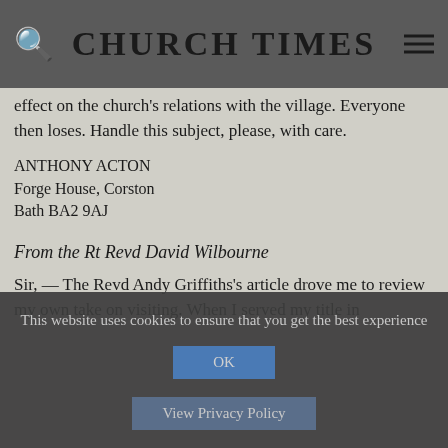CHURCH TIMES
effect on the church's relations with the village. Everyone then loses. Handle this subject, please, with care.
ANTHONY ACTON
Forge House, Corston
Bath BA2 9AJ
From the Rt Revd David Wilbourne
Sir, — The Revd Andy Griffiths's article drove me to review my own take on visiting. When I served my title in
This website uses cookies to ensure that you get the best experience